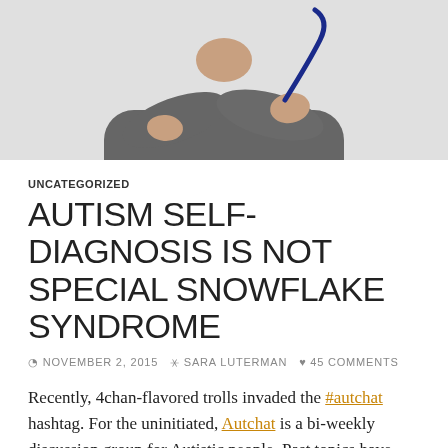[Figure (photo): Person in gray long-sleeve shirt with arms crossed, holding a stethoscope, photographed from chin down against a light background]
UNCATEGORIZED
AUTISM SELF-DIAGNOSIS IS NOT SPECIAL SNOWFLAKE SYNDROME
NOVEMBER 2, 2015   SARA LUTERMAN   45 COMMENTS
Recently, 4chan-flavored trolls invaded the #autchat hashtag. For the uninitiated, Autchat is a bi-weekly discussion group for Autistic people. Past topics have included friendship, autistic representation in media and strategies for coping with executive dysfunction. The community is usually warm, welcoming and a great place to learn. Instead, participants